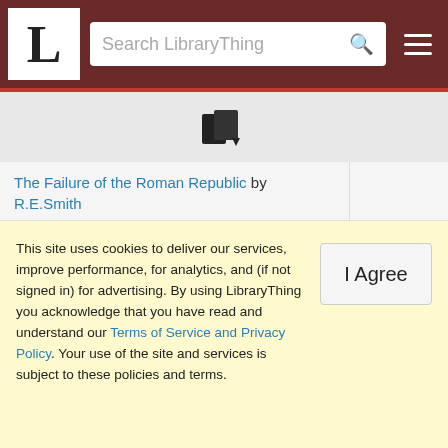LibraryThing — Search LibraryThing
| Book |  |
| --- | --- |
| The Failure of the Roman Republic by R.E.Smith |  |
| The Fair Island by Anne Hampson |  |
| Fairy Tales of Greece by Ronald Seth |  |
| The Faith of a Rationalist: No Supernatural Reasons are Needed to Make Men Kind by Bertrand Russell |  |
| The Fall of Troy by Peter Ackroyd |  |
| Falling Cloudberries: A World of Family Recipes by Tessa Kiros |  |
This site uses cookies to deliver our services, improve performance, for analytics, and (if not signed in) for advertising. By using LibraryThing you acknowledge that you have read and understand our Terms of Service and Privacy Policy. Your use of the site and services is subject to these policies and terms.